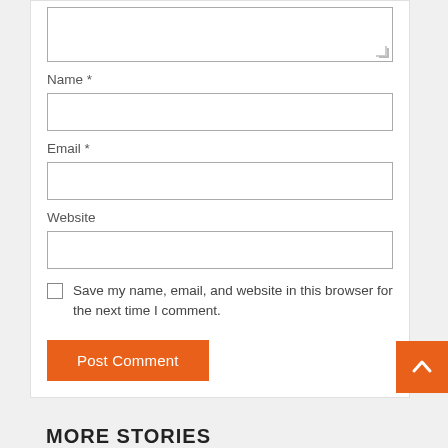Name *
[Figure (other): Empty text input field for Name]
Email *
[Figure (other): Empty text input field for Email]
Website
[Figure (other): Empty text input field for Website]
Save my name, email, and website in this browser for the next time I comment.
Post Comment
MORE STORIES